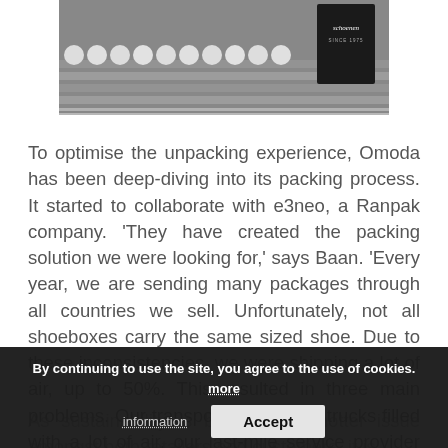[Figure (photo): Overhead photo showing white balls or spheres on a surface with metallic rods/tubes, and a dark product box with script text 'schoenen SINCE 1975' in the upper right]
To optimise the unpacking experience, Omoda has been deep-diving into its packing process. It started to collaborate with e3neo, a Ranpak company. 'They have created the packing solution we were looking for,' says Baan. 'Every year, we are sending many packages through all countries we sell. Unfortunately, not all shoeboxes carry the same sized shoe. Due to these inconsistencies, we were shipping a lot of air, up to 50%. This resulted in three main problems. Our transporters shipped trucks filled with a lot of air, our last-mile service provider dealt with the same problem and you are wasting materials you should not necessarily end up with.'
As sustainability is becoming a hotter issue amongst both retailers and customers, it is
By continuing to use the site, you agree to the use of cookies. more information
Accept